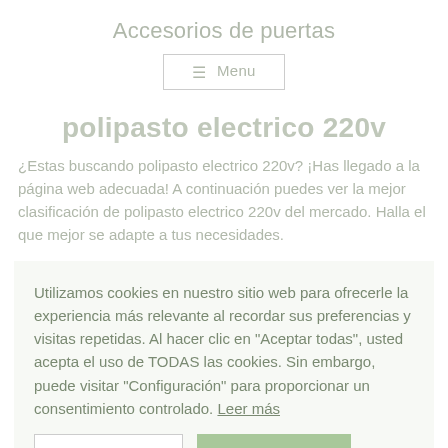Accesorios de puertas
≡ Menu
polipasto electrico 220v
¿Estas buscando polipasto electrico 220v? ¡Has llegado a la página web adecuada! A continuación puedes ver la mejor clasificación de polipasto electrico 220v del mercado. Halla el que mejor se adapte a tus necesidades.
Utilizamos cookies en nuestro sitio web para ofrecerle la experiencia más relevante al recordar sus preferencias y visitas repetidas. Al hacer clic en "Aceptar todas", usted acepta el uso de TODAS las cookies. Sin embargo, puede visitar "Configuración" para proporcionar un consentimiento controlado. Leer más
Configuración
Aceptar todo